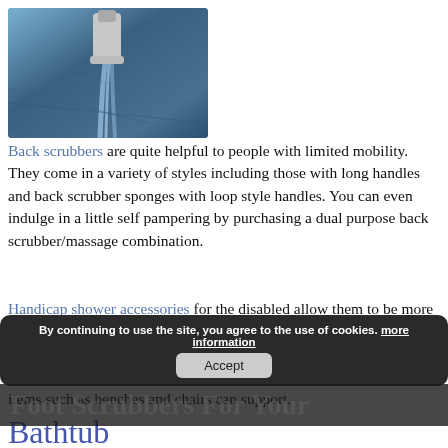[Figure (photo): Close-up photo of a water faucet with running water]
Back scrubbers are quite helpful to people with limited mobility. They come in a variety of styles including those with long handles and back scrubber sponges with loop style handles. You can even indulge in a little self pampering by purchasing a dual purpose back scrubber/massage combination.
Handicap shower accessories for the disabled allow them to be more independent which in turns keeps their self esteem and confidence level higher. It is important that the accessories be durable to assure safety. Check the quality of construction and know the weight limits items such as benches and chairs can support.
By continuing to use the site, you agree to the use of cookies. more information Accept
Foot Scrubbers For Your Bathtub